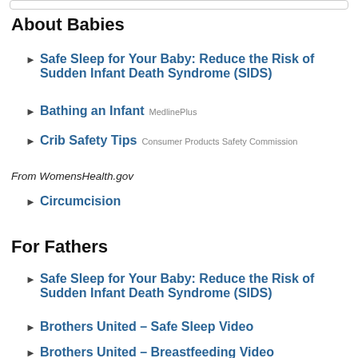About Babies
Safe Sleep for Your Baby: Reduce the Risk of Sudden Infant Death Syndrome (SIDS)
Bathing an Infant  MedlinePlus
Crib Safety Tips  Consumer Products Safety Commission
From WomensHealth.gov
Circumcision
For Fathers
Safe Sleep for Your Baby: Reduce the Risk of Sudden Infant Death Syndrome (SIDS)
Brothers United – Safe Sleep Video
Brothers United – Breastfeeding Video